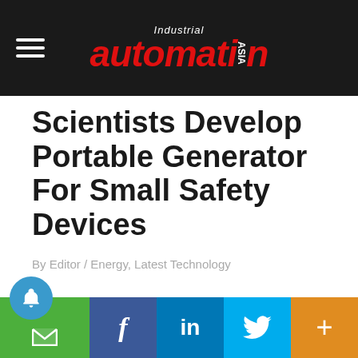Industrial Automation Asia
Scientists Develop Portable Generator For Small Safety Devices
By Editor / Energy, Latest Technology
[Figure (logo): Social sharing bar with notification bell, email, Facebook, LinkedIn, Twitter, and more buttons]